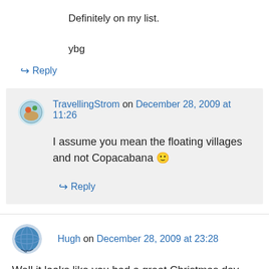Definitely on my list.
ybg
↪ Reply
TravellingStrom on December 28, 2009 at 11:26
I assume you mean the floating villages and not Copacabana 🙂
↪ Reply
Hugh on December 28, 2009 at 23:28
Well it looks like you had a great Christmas day